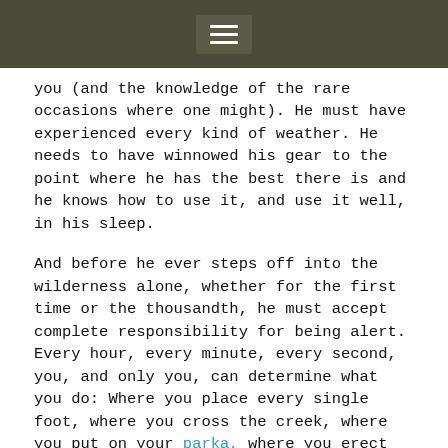☰
you (and the knowledge of the rare occasions where one might). He must have experienced every kind of weather. He needs to have winnowed his gear to the point where he has the best there is and he knows how to use it, and use it well, in his sleep.
And before he ever steps off into the wilderness alone, whether for the first time or the thousandth, he must accept complete responsibility for being alert. Every hour, every minute, every second, you, and only you, can determine what you do: Where you place every single foot, where you cross the creek, where you put on your parka, where you erect your tent. Every single one of these things and a million other ones have consequences- bad ones if done incorrectly.
Nobody does it correctly every time. I've survived my share of mishaps. Like the time a snowtrench collapsed on me in the middle of the night under 33 inches of new snow. I bailed out